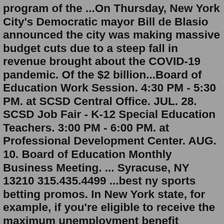program of the ...On Thursday, New York City's Democratic mayor Bill de Blasio announced the city was making massive budget cuts due to a steep fall in revenue brought about the COVID-19 pandemic. Of the $2 billion...Board of Education Work Session. 4:30 PM - 5:30 PM. at SCSD Central Office. JUL. 28. SCSD Job Fair - K-12 Special Education Teachers. 3:00 PM - 6:00 PM. at Professional Development Center. AUG. 10. Board of Education Monthly Business Meeting. ... Syracuse, NY 13210 315.435.4499 ...best ny sports betting promos. In New York state, for example, if you're eligible to receive the maximum unemployment benefit amount of $504 per week, the CARES Act adds an additional $600 to that figure, making your weekly income $1,104 Friday, April 24, 2020 The DOE Has Loopholes In The Hiring Freeze The DOE has quietly informed principals that the hiring freeze has. New York City Department of Education. Scholarships, Incentives, and Speech Programs. 65 Court Street, Room 508. Brooklyn, New York 11201. Attn: Paraprofessional to